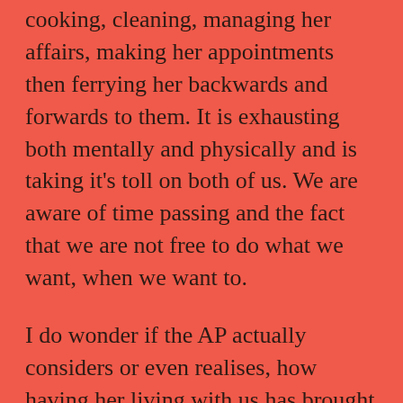cooking, cleaning, managing her affairs, making her appointments then ferrying her backwards and forwards to them. It is exhausting both mentally and physically and is taking it's toll on both of us. We are aware of time passing and the fact that we are not free to do what we want, when we want to.
I do wonder if the AP actually considers or even realises, how having her living with us has brought our lives to a standstill. If she does, does she care? I somehow doubt it because she has become totally wrapped up in herself and her levels of empathy and understanding have deteriorated. The AP has no idea what we do in the day tending to sit in her room or go to the summerhouse and assumes that we sit